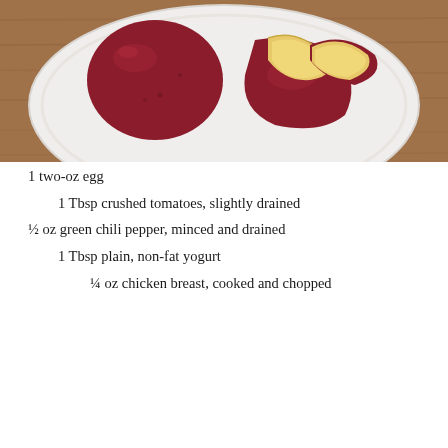[Figure (photo): Photo of red potatoes on a white plate — one whole and one cut in half showing the yellow interior, placed on a wooden surface.]
1 two-oz egg
1 Tbsp crushed tomatoes, slightly drained
½ oz green chili pepper, minced and drained
1 Tbsp plain, non-fat yogurt
¼ oz chicken breast, cooked and chopped